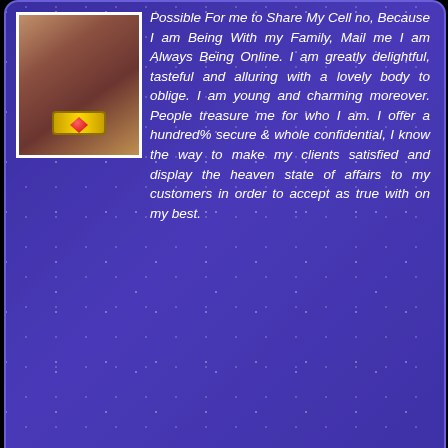Possible For me to Share My Cell no, Because I am Being With my Family, Mail me I am Always Being Online. I am greatly delightful, tasteful and alluring with a lovely body to oblige. I am young and charming moreover. People treasure me for who I am. I offer a hundred% secure & whole confidential, I know the way to make my clients satisfied and display the heaven state of affairs to my customers in order to accept as true with on my best.
[Figure (photo): Small profile photo thumbnail with decorative gold frame and red gem ornament]
✿ Bhupalpalle Housewife Escorts
📞 Call Me    💬 Whatsapp Me
Aliya 25
[Figure (illustration): Heart/love icon decoration in orange/yellow]
[Figure (photo): Profile photo of Aliya]
Call Now
Whatsup
I'm Aliya, 25 years old, stand tall 5'6